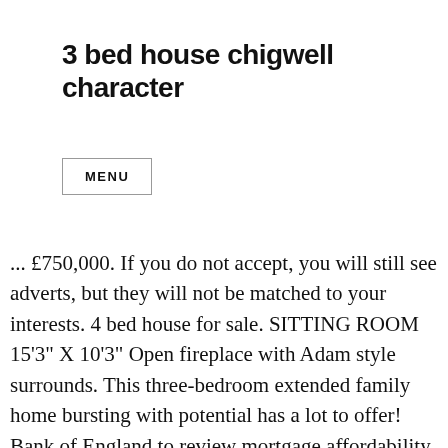3 bed house chigwell character
MENU
... £750,000. If you do not accept, you will still see adverts, but they will not be matched to your interests. 4 bed house for sale. SITTING ROOM 15‘3” X 10‘3” Open fireplace with Adam style surrounds. This three-bedroom extended family home bursting with potential has a lot to offer! Bank of England to review mortgage affordability as Covid-19 creates 'tight conditions' for borrowers. Q&A: 'Housing market this Christmas is set